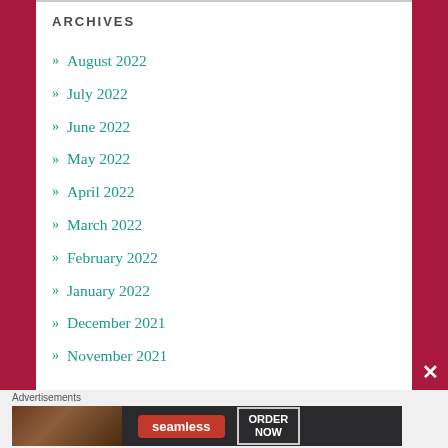ARCHIVES
» August 2022
» July 2022
» June 2022
» May 2022
» April 2022
» March 2022
» February 2022
» January 2022
» December 2021
» November 2021
Advertisements
[Figure (screenshot): Seamless food delivery advertisement banner with pizza image, Seamless logo in red, and ORDER NOW button]